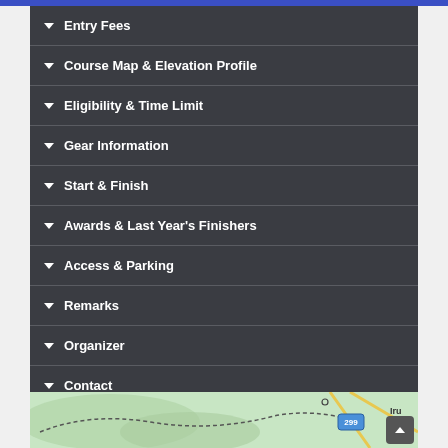Entry Fees
Course Map & Elevation Profile
Eligibility & Time Limit
Gear Information
Start & Finish
Awards & Last Year's Finishers
Access & Parking
Remarks
Organizer
Contact
[Figure (map): Partial map view showing roads and terrain with route 299 label and 'Iru' text visible]